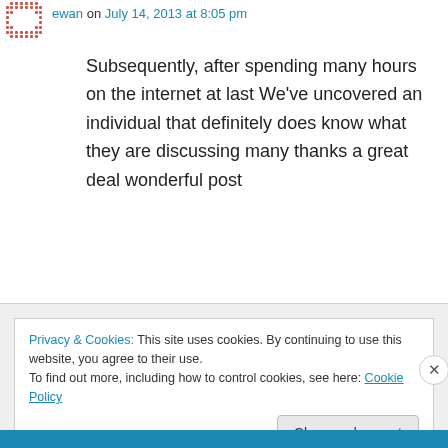[Figure (illustration): Red dotted/pixel-art avatar icon]
ewan on July 14, 2013 at 8:05 pm
Subsequently, after spending many hours on the internet at last We've uncovered an individual that definitely does know what they are discussing many thanks a great deal wonderful post
★ Like
↳ Reply
Privacy & Cookies: This site uses cookies. By continuing to use this website, you agree to their use.
To find out more, including how to control cookies, see here: Cookie Policy
Close and accept